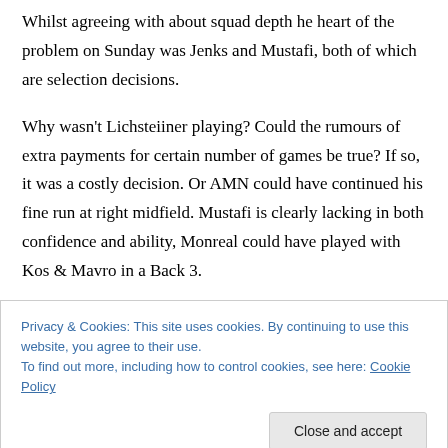Whilst agreeing with about squad depth he heart of the problem on Sunday was Jenks and Mustafi, both of which are selection decisions.

Why wasn't Lichsteiiner playing? Could the rumours of extra payments for certain number of games be true? If so, it was a costly decision. Or AMN could have continued his fine run at right midfield. Mustafi is clearly lacking in both confidence and ability, Monreal could have played with Kos & Mavro in a Back 3.
Privacy & Cookies: This site uses cookies. By continuing to use this website, you agree to their use. To find out more, including how to control cookies, see here: Cookie Policy
Close and accept
main priority.